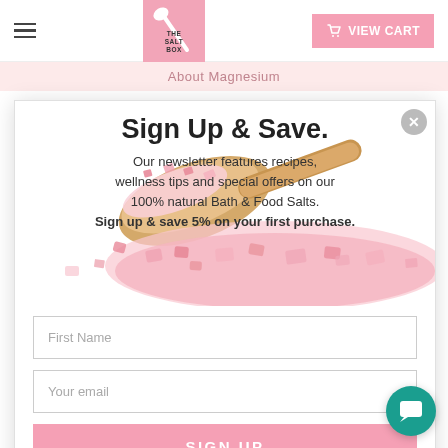THE SALT BOX — VIEW CART
About Magnesium
Sign Up & Save.
Our newsletter features recipes, wellness tips and special offers on our 100% natural Bath & Food Salts. Sign up & save 5% on your first purchase.
[Figure (photo): Wooden scoop filled with pink Himalayan salt crystals spilling onto white background]
First Name
Your email
SIGN UP